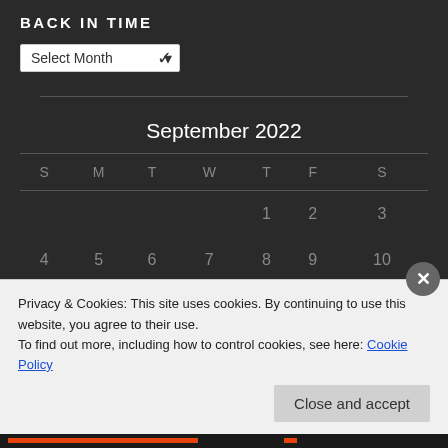BACK IN TIME
[Figure (screenshot): Select Month dropdown widget with chevron arrow]
September 2022
| S | M | T | W | T | F | S |
| --- | --- | --- | --- | --- | --- | --- |
|  |  |  |  | 1 | 2 | 3 |
| 4 | 5 | 6 | 7 | 8 | 9 | 10 |
Privacy & Cookies: This site uses cookies. By continuing to use this website, you agree to their use.
To find out more, including how to control cookies, see here: Cookie Policy
Close and accept